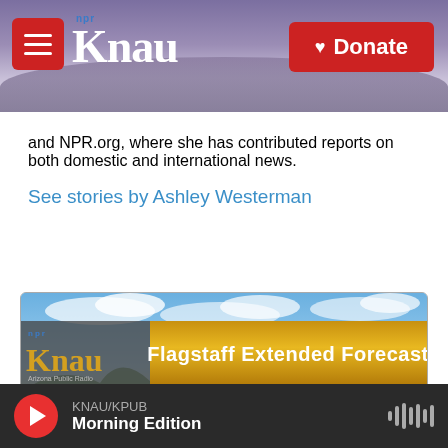KNAU NPR - Donate
and NPR.org, where she has contributed reports on both domestic and international news.
See stories by Ashley Westerman
[Figure (screenshot): KNAU Flagstaff Extended Forecast weather widget showing Wed, Thu, Fri, Sat, Sun with partly cloudy and sunny icons]
KNAU/KPUB Morning Edition